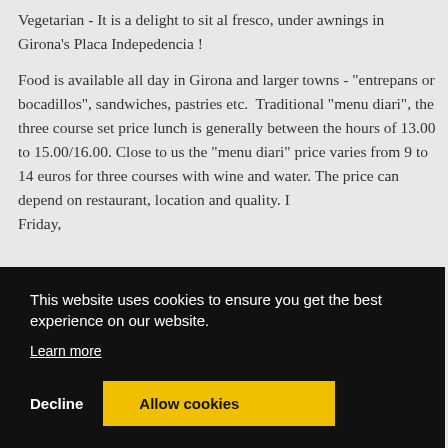Vegetarian - It is a delight to sit al fresco, under awnings in Girona's Placa Indepedencia !
Food is available all day in Girona and larger towns - "entrepans or bocadillos", sandwiches, pastries etc. Traditional "menu diari", the three course set price lunch is generally between the hours of 13.00 to 15.00/16.00. Close to us the "menu diari" price varies from 9 to 14 euros for three courses with wine and water. The price can depend on restaurant, location and quality. [partially obscured] Friday, [partially obscured] eat [partially obscured] es are [partially obscured] re [partially obscured] or
This website uses cookies to ensure you get the best experience on our website. Learn more
Decline    Allow cookies